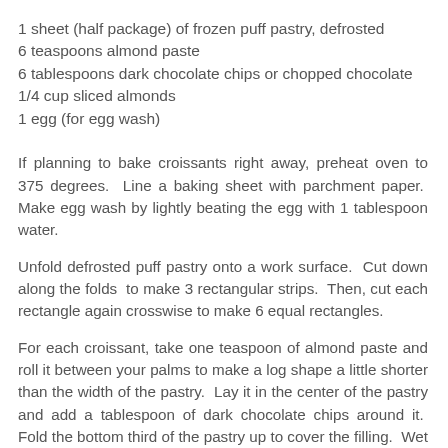1 sheet (half package) of frozen puff pastry, defrosted
6 teaspoons almond paste
6 tablespoons dark chocolate chips or chopped chocolate
1/4 cup sliced almonds
1 egg (for egg wash)
If planning to bake croissants right away, preheat oven to 375 degrees.  Line a baking sheet with parchment paper.  Make egg wash by lightly beating the egg with 1 tablespoon water.
Unfold defrosted puff pastry onto a work surface.  Cut down along the folds  to make 3 rectangular strips.  Then, cut each rectangle again crosswise to make 6 equal rectangles.
For each croissant, take one teaspoon of almond paste and roll it between your palms to make a log shape a little shorter than the width of the pastry.  Lay it in the center of the pastry and add a tablespoon of dark chocolate chips around it.  Fold the bottom third of the pastry up to cover the filling.  Wet the top third of the pastry with egg wash (or water